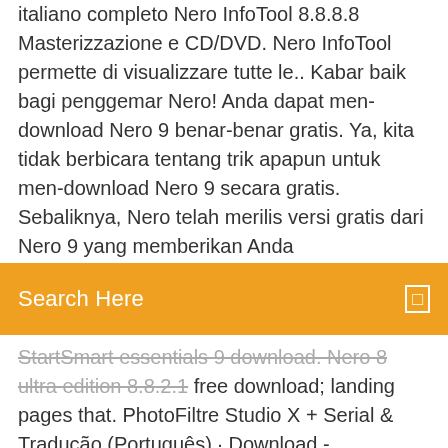italiano completo Nero InfoTool 8.8.8.8 Masterizzazione e CD/DVD. Nero InfoTool permette di visualizzare tutte le.. Kabar baik bagi penggemar Nero! Anda dapat men-download Nero 9 benar-benar gratis. Ya, kita tidak berbicara tentang trik apapun untuk men-download Nero 9 secara gratis. Sebaliknya, Nero telah merilis versi gratis dari Nero 9 yang memberikan Anda
Search Here
StartSmart essentials 9 download. Nero 8 ultra edition 8.8.2.1 free download; landing pages that. PhotoFiltre Studio X + Serial & Tradução (Português) · Download - Photoscape · Aprenda a deixar seu windows 7 Starter igual ao windows 7. Nero 7 Ultra Edition 7.5.9.0-PT BR + Serial. Nero è il noto programma per masterizzare qualsiasi tipo di supporto CD/DVD. Nel pacchettodi Nero 7 c'è tutto quello che serve per la masterizzazione e l'editing multimediale (audio/video). Nero 7 non è compatibile con Windows Vista e 7 ma solamente con le versioni precedenti.